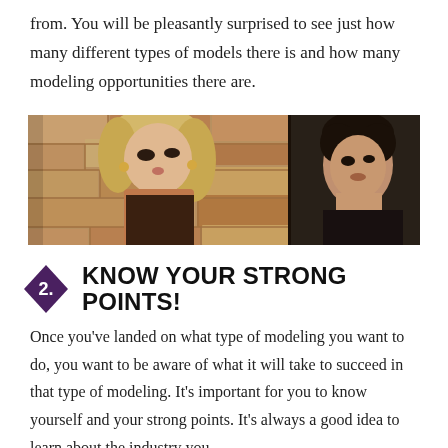from. You will be pleasantly surprised to see just how many different types of models there is and how many modeling opportunities there are.
[Figure (photo): Two fashion models: a glamorous blonde woman in front of a stone wall on the left, and a dark-haired male model on a dark background on the right.]
2. KNOW YOUR STRONG POINTS!
Once you've landed on what type of modeling you want to do, you want to be aware of what it will take to succeed in that type of modeling. It's important for you to know yourself and your strong points. It's always a good idea to learn about the industry you